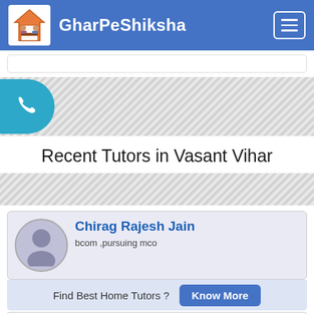GharPeShiksha
[Figure (logo): GharPeShiksha logo: house icon with people studying inside]
[Figure (illustration): Phone call floating bubble icon (teal/blue circle with white telephone handset)]
Recent Tutors in Vasant Vihar
[Figure (photo): Generic male tutor avatar silhouette in circle]
Chirag Rajesh Jain
bcom ,pursuing mco
Find Best Home Tutors ?
Know More